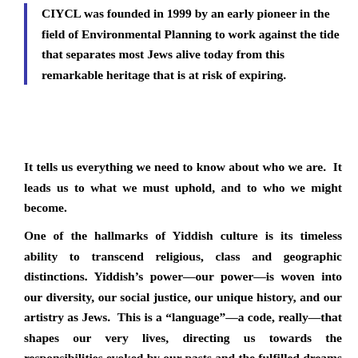CIYCL was founded in 1999 by an early pioneer in the field of Environmental Planning to work against the tide that separates most Jews alive today from this remarkable heritage that is at risk of expiring.
It tells us everything we need to know about who we are.  It leads us to what we must uphold, and to who we might become.
One of the hallmarks of Yiddish culture is its timeless ability to transcend religious, class and geographic distinctions. Yiddish’s power—our power—is woven into our diversity, our social justice, our unique history, and our artistry as Jews.  This is a “language”—a code, really—that shapes our very lives, directing us towards the responsibilities evoked by our pasts and the fulfilled dreams hidden in our futures.